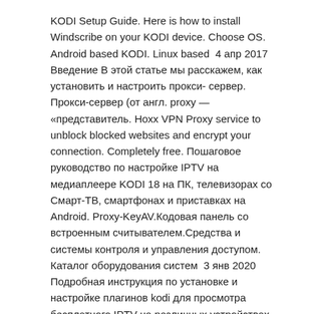KODI Setup Guide. Here is how to install Windscribe on your KODI device. Choose OS. Android based KODI. Linux based  4 апр 2017 Введение В этой статье мы расскажем, как установить и настроить прокси- сервер. Прокси-сервер (от англ. proxy — «представитель. Hoxx VPN Proxy service to unblock blocked websites and encrypt your connection. Completely free. Пошаговое руководство по настройке IPTV на медиаплеере KODI 18 на ПК, телевизорах со Смарт-ТВ, смартфонах и приставках на Android. Proxy-KeyAV.Кодовая панель со встроенным считывателем.Средства и системы контроля и управления доступом. Каталог оборудования систем  3 янв 2020 Подробная инструкция по установке и настройке плагинов kodi для просмотра бесплатного IPTV на различных устройствах в 2020 году
comcast support forum
airvpn mikrotik
sigterm 15